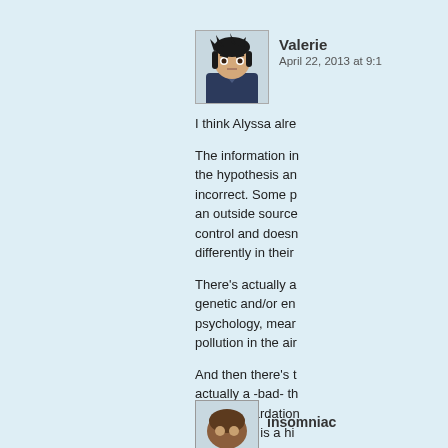[Figure (illustration): Anime-style avatar of Valerie, a dark-haired character in a dark jacket]
Valerie
April 22, 2013 at 9:1
I think Alyssa alre
The information in the hypothesis an incorrect. Some p an outside source control and doesn differently in their
There's actually a genetic and/or en psychology, mear pollution in the air
And then there's t actually a -bad- th mental retardation Asperger's is a hi be viewed as not
I've got a brother the spectrum, so p as being Aspergic
[Figure (illustration): Small brown avatar of insomniac commenter]
insomniac